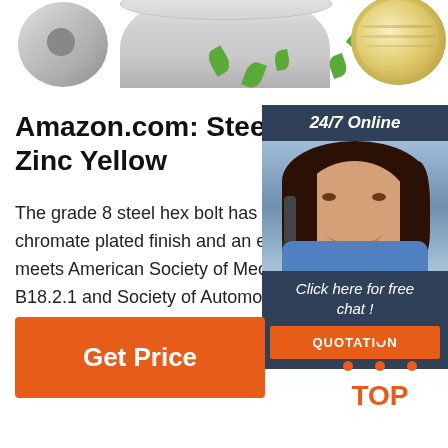[Figure (screenshot): Top strip showing partial product images: a silver hex bolt on left, a large silver bolt/container in center, decorative green leaves, and a circular wood grain image on right]
Amazon.com: Steel Hex Bolt, Zinc Yellow
The grade 8 steel hex bolt has a zinc yellow chromate plated finish and an external thread that meets American Society of Mechanical Engineers ASME B18.2.1 and Society of Automotive Engineers SAE J429 specifications and is made in USA.
[Figure (screenshot): 24/7 Online chat widget with agent photo, 'Click here for free chat!' prompt and orange QUOTATION button]
[Figure (other): Orange 'Get Price' button]
[Figure (logo): Orange TOP logo with triangle dots above the word TOP]